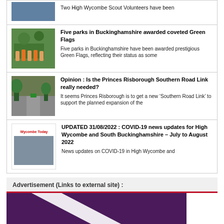Two High Wycombe Scout Volunteers have been
Five parks in Buckinghamshire awarded coveted Green Flags
Five parks in Buckinghamshire have been awarded prestigious Green Flags, reflecting their status as some
Opinion : Is the Princes Risborough Southern Road Link really needed?
It seems Princes Risborough is to get a new ‘Southern Road Link’ to support the planned expansion of the
UPDATED 31/08/2022 : COVID-19 news updates for High Wycombe and South Buckinghamshire – July to August 2022
News updates on COVID-19 in High Wycombe and
Advertisement (Links to external site) :
[Figure (photo): Purple/dark background with a white diagonal stripe, advertisement image]